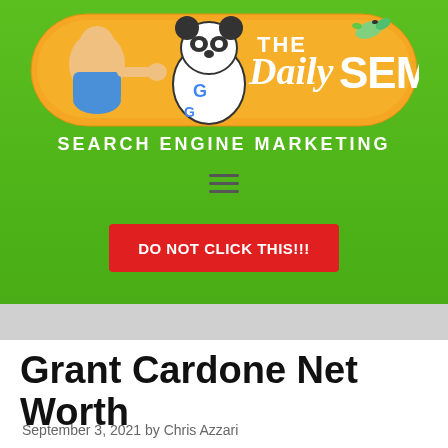[Figure (logo): The Daily SEM logo with orange pill shape, cartoon man, panda with Google logo, hummingbird, and large text 'The DailySEM' with subtitle 'SEARCH ENGINE MARKETING' on green background]
[Figure (other): Hamburger menu icon (three horizontal lines)]
[Figure (other): Red button with white text 'DO NOT CLICK THIS!!!']
Grant Cardone Net Worth
September 3, 2021 by Chris Azzari